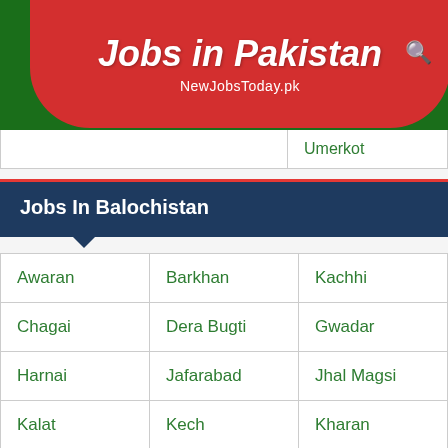Jobs in Pakistan
NewJobsToday.pk
|  | Umerkot |
Jobs In Balochistan
| Awaran | Barkhan | Kachhi |
| Chagai | Dera Bugti | Gwadar |
| Harnai | Jafarabad | Jhal Magsi |
| Kalat | Kech | Kharan |
| Kohlu | Khuzdar | Killa Abdullah |
| Killa Saifullah | Lasbela | Loralai |
| Mastung | Musakhel | Nasirabad |
|  |  |  |